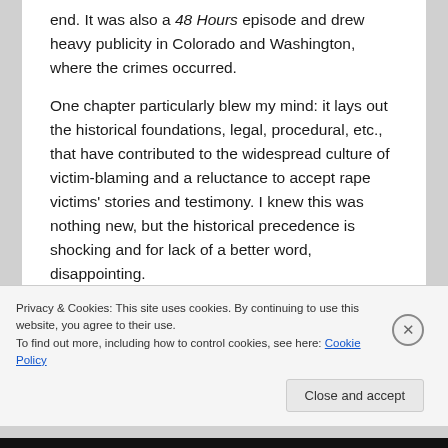end. It was also a 48 Hours episode and drew heavy publicity in Colorado and Washington, where the crimes occurred.
One chapter particularly blew my mind: it lays out the historical foundations, legal, procedural, etc., that have contributed to the widespread culture of victim-blaming and a reluctance to accept rape victims' stories and testimony. I knew this was nothing new, but the historical precedence is shocking and for lack of a better word, disappointing.
Privacy & Cookies: This site uses cookies. By continuing to use this website, you agree to their use.
To find out more, including how to control cookies, see here: Cookie Policy